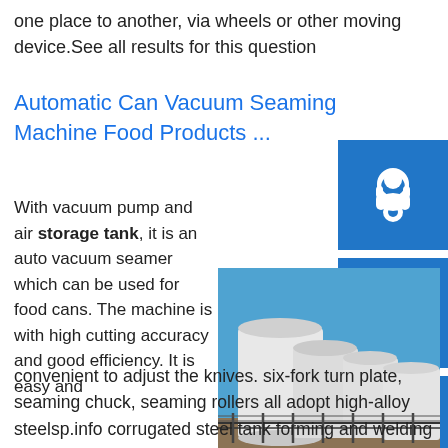one place to another, via wheels or other moving device.See all results for this question
Automatic Can Vacuum Seaming Machine Food Products ...
[Figure (photo): Industrial white storage tanks behind a chain-link fence under a blue sky]
[Figure (infographic): Three blue icon buttons: headset/support icon, phone icon, Skype icon]
With vacuum pump and air storage tank, it is an auto vacuum seamer which can be used for food cans. The machine is with high cutting accuracy and good efficiency. It is easy and convenient to adjust the knives. six-fork turn plate, seaming chuck, seaming rollers all adopt high-alloy steelsp.info corrugated steel tank forming and welding manufacturing ...Oil Storage Tank. sanitary milk tank milk storage tank price; liquefied gas tank oil gas 25cbm storage tank; v type silo dry bulk cement tanker trailer africa market or palm oil storage tank; oil tank sizes ...